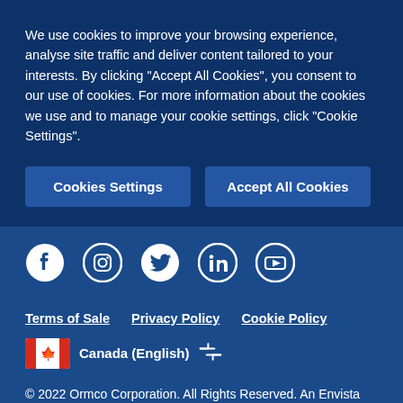We use cookies to improve your browsing experience, analyse site traffic and deliver content tailored to your interests. By clicking "Accept All Cookies", you consent to our use of cookies. For more information about the cookies we use and to manage your cookie settings, click "Cookie Settings".
Cookies Settings
Accept All Cookies
[Figure (infographic): Social media icons row: Facebook, Instagram, Twitter, LinkedIn, YouTube]
Terms of Sale    Privacy Policy    Cookie Policy
[Figure (infographic): Canadian flag icon followed by text Canada (English) and a swap/exchange arrows icon]
© 2022 Ormco Corporation. All Rights Reserved. An Envista Company